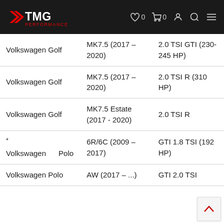RTMG PERFORMANCE
| Make/Model | Generation | Engine |
| --- | --- | --- |
| Volkswagen Golf | MK7.5 (2017 – 2020) | 2.0 TSI GTI (230-245 HP) |
| Volkswagen Golf | MK7.5 (2017 – 2020) | 2.0 TSI R (310 HP) |
| Volkswagen Golf | MK7.5 Estate (2017 - 2020) | 2.0 TSI R |
| * Volkswagen Polo | 6R/6C (2009 – 2017) | GTI 1.8 TSI (192 HP) |
| Volkswagen Polo | AW (2017 – ...) | GTI 2.0 TSI |